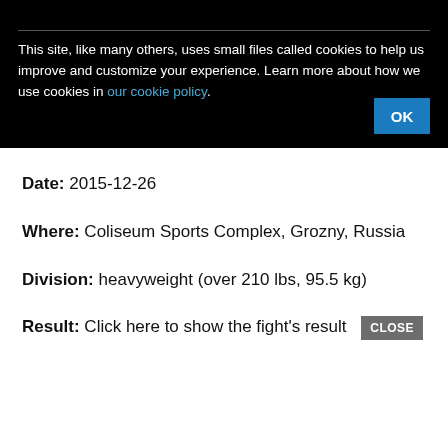This site, like many others, uses small files called cookies to help us improve and customize your experience. Learn more about how we use cookies in our cookie policy.
Date: 2015-12-26
Where: Coliseum Sports Complex, Grozny, Russia
Division: heavyweight (over 210 lbs, 95.5 kg)
Result: Click here to show the fight's result